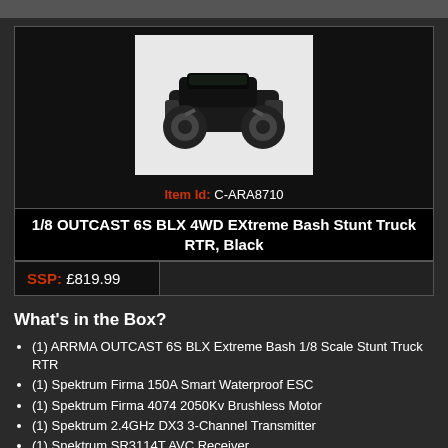[Figure (photo): RC truck product photo - ARRMA OUTCAST 6S BLX 4WD black stunt truck on white background]
Item Id: C-ARA8710
1/8 OUTCAST 6S BLX 4WD EXtreme Bash Stunt Truck RTR, Black
SSP: £819.99
What's in the Box?
(1) ARRMA OUTCAST 6S BLX Extreme Bash 1/8 Scale Stunt Truck RTR
(1) Spektrum Firma 150A Smart Waterproof ESC
(1) Spektrum Firma 4074 2050Kv Brushless Motor
(1) Spektrum 2.4GHz DX3 3-Channel Transmitter
(1) Spektrum SR3114T AVC Receiver